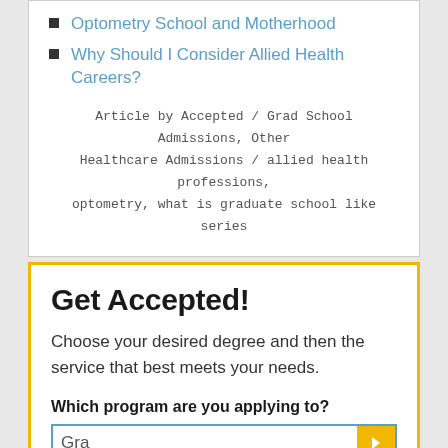Optometry School and Motherhood
Why Should I Consider Allied Health Careers?
Article by Accepted / Grad School Admissions, Other Healthcare Admissions / allied health professions, optometry, what is graduate school like series
Get Accepted!
Choose your desired degree and then the service that best meets your needs.
Which program are you applying to?